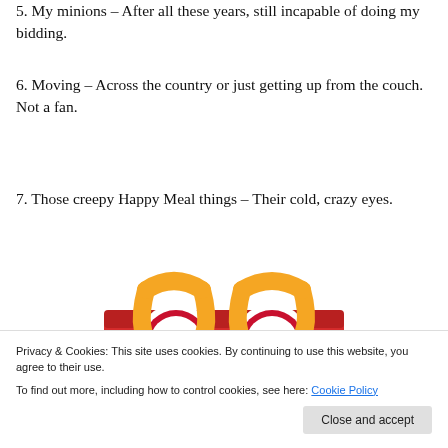5. My minions – After all these years, still incapable of doing my bidding.
6. Moving – Across the country or just getting up from the couch.  Not a fan.
7. Those creepy Happy Meal things – Their cold, crazy eyes.
[Figure (photo): A red McDonald's Happy Meal box character with large googly eyes and orange arches forming eyebrows, partially cropped at bottom]
Privacy & Cookies: This site uses cookies. By continuing to use this website, you agree to their use.
To find out more, including how to control cookies, see here: Cookie Policy